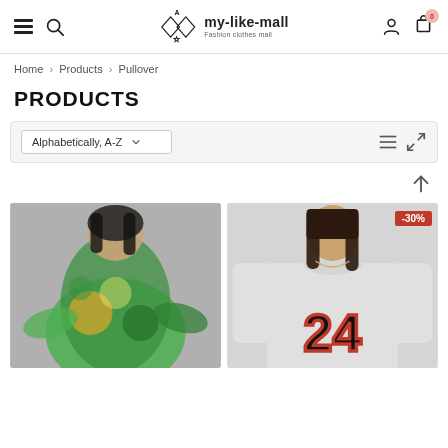my-like-mall Fashion clothes mall — navigation header with hamburger menu, search, logo, user account, and cart (0)
Home > Products > Pullover
PRODUCTS
Alphabetically, A-Z [sort dropdown] [list-view icon] [grid-view icon]
[Figure (photo): Woman wearing a colorful green and gold African-print dress with flared sleeves, posing against a grey background]
[Figure (photo): Woman wearing a light grey long-sleeve top with large '24' printed in red and black varsity letters; red -30% discount badge in corner]